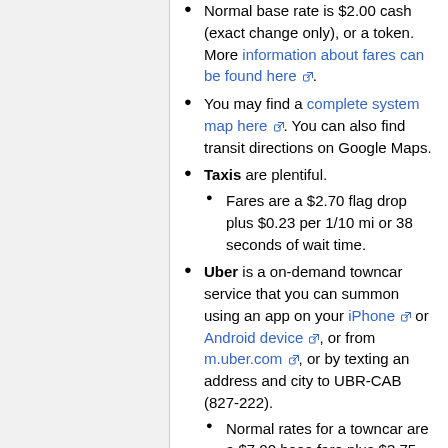Normal base rate is $2.00 cash (exact change only), or a token. More information about fares can be found here.
You may find a complete system map here. You can also find transit directions on Google Maps.
Taxis are plentiful.
Fares are a $2.70 flag drop plus $0.23 per 1/10 mi or 38 seconds of wait time.
Uber is a on-demand towncar service that you can summon using an app on your iPhone or Android device, or from m.uber.com, or by texting an address and city to UBR-CAB (827-222).
Normal rates for a towncar are a $7.00 base fare plus $3.75 per